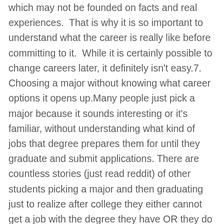which may not be founded on facts and real experiences.  That is why it is so important to understand what the career is really like before committing to it.  While it is certainly possible to change careers later, it definitely isn't easy.7. Choosing a major without knowing what career options it opens up.Many people just pick a major because it sounds interesting or it's familiar, without understanding what kind of jobs that degree prepares them for until they graduate and submit applications. There are countless stories (just read reddit) of other students picking a major and then graduating just to realize after college they either cannot get a job with the degree they have OR they do not want the jobs that are available to them with that degree OR that the jobs that are available with that degree do not pay enough